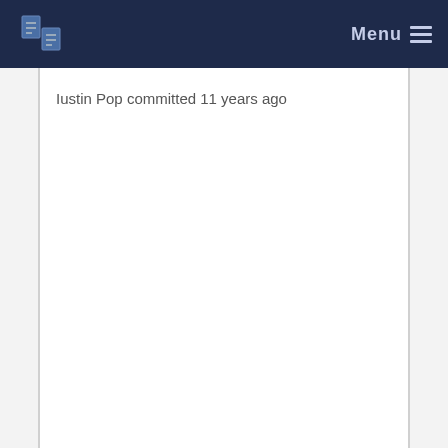Menu
Iustin Pop committed 11 years ago